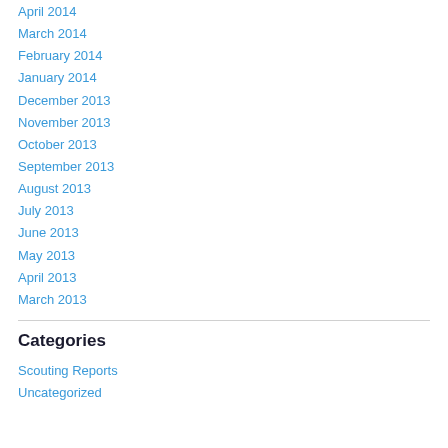April 2014
March 2014
February 2014
January 2014
December 2013
November 2013
October 2013
September 2013
August 2013
July 2013
June 2013
May 2013
April 2013
March 2013
Categories
Scouting Reports
Uncategorized